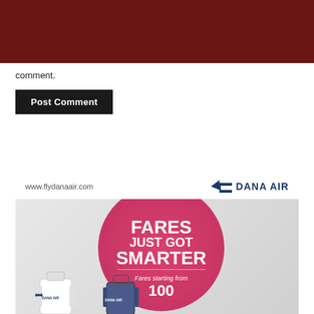[Figure (other): Dark red/maroon header bar at the top of the page]
comment.
Post Comment
[Figure (illustration): Dana Air advertisement banner showing a pink circle with 'FARES JUST GOT SMARTER' text, airplane illustration, luggage, and 'Fares starting from' text. URL www.flydanaair.com and DANA AIR logo at top.]